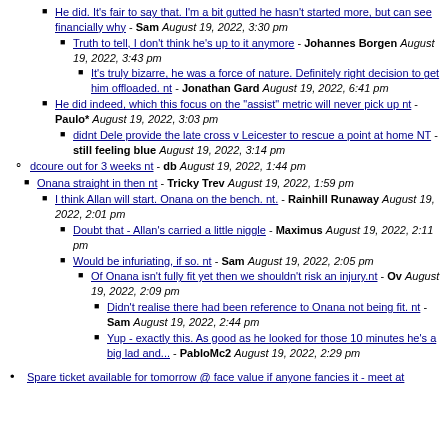He did. It's fair to say that. I'm a bit gutted he hasn't started more, but can see financially why - Sam August 19, 2022, 3:30 pm
Truth to tell, I don't think he's up to it anymore - Johannes Borgen August 19, 2022, 3:43 pm
It's truly bizarre, he was a force of nature. Definitely right decision to get him offloaded. nt - Jonathan Gard August 19, 2022, 6:41 pm
He did indeed, which this focus on the "assist" metric will never pick up nt - Paulo* August 19, 2022, 3:03 pm
didnt Dele provide the late cross v Leicester to rescue a point at home NT - still feeling blue August 19, 2022, 3:14 pm
dcoure out for 3 weeks nt - db August 19, 2022, 1:44 pm
Onana straight in then nt - Tricky Trev August 19, 2022, 1:59 pm
I think Allan will start. Onana on the bench. nt. - Rainhill Runaway August 19, 2022, 2:01 pm
Doubt that - Allan's carried a little niggle - Maximus August 19, 2022, 2:11 pm
Would be infuriating, if so. nt - Sam August 19, 2022, 2:05 pm
Of Onana isn't fully fit yet then we shouldn't risk an injury.nt - Ov August 19, 2022, 2:09 pm
Didn't realise there had been reference to Onana not being fit. nt - Sam August 19, 2022, 2:44 pm
Yup - exactly this. As good as he looked for those 10 minutes he's a big lad and... - PabloMc2 August 19, 2022, 2:29 pm
Spare ticket available for tomorrow @ face value if anyone fancies it - meet at